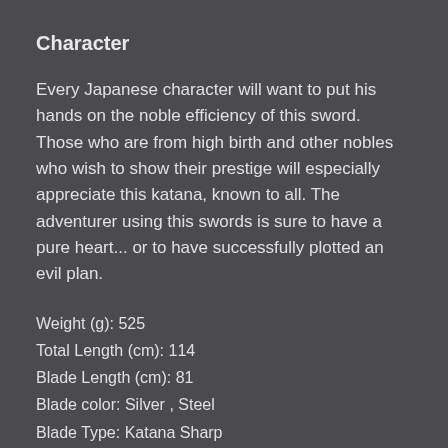Character
Every Japanese character will want to put his hands on the noble efficiency of this sword. Those who are from high birth and other nobles who wish to show their prestige will especially appreciate this katana, known to all. The adventurer using this swords is sure to have a pure heart... or to have successfully plotted an evil plan.
Weight (g): 525
Total Length (cm): 114
Blade Length (cm): 81
Blade color: Silver , Steel
Blade Type: Katana Sharp
Handle length (cm): 33
Grip length (cm): 27
Cross guard width (cm): 6